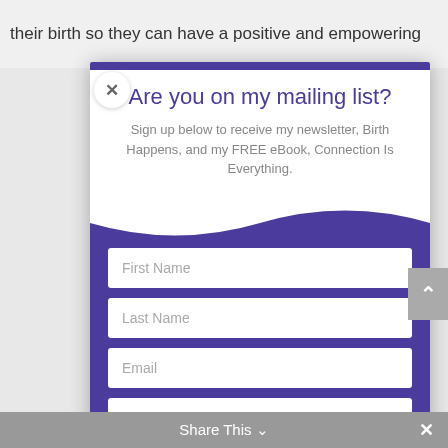their birth so they can have a positive and empowering
Are you on my mailing list?
Sign up below to receive my newsletter, Birth Happens, and my FREE eBook, Connection Is Everything.
First Name
Last Name
Email
SUBSCRIBE!
Share This